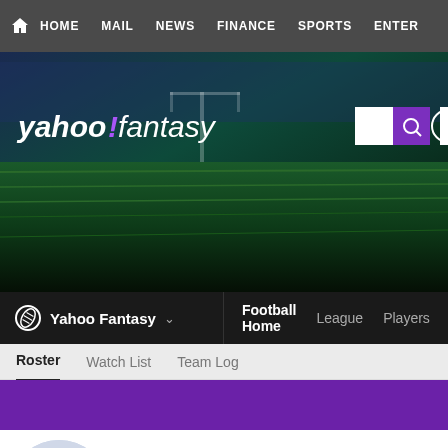HOME  MAIL  NEWS  FINANCE  SPORTS  ENTER
[Figure (screenshot): Yahoo Fantasy sports hero banner with stadium background, Yahoo! fantasy logo, search box, and Sign in button]
Yahoo Fantasy  Football Home  League  Players  Draft
Roster  Watch List  Team Log
none's Superb Team
--hidden--  Since '09